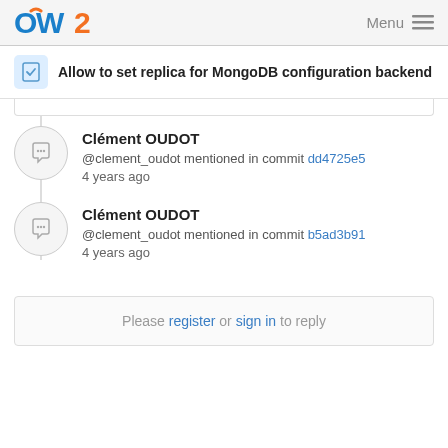OW2 Menu
Allow to set replica for MongoDB configuration backend
Clément OUDOT
@clement_oudot mentioned in commit dd4725e5
4 years ago
Clément OUDOT
@clement_oudot mentioned in commit b5ad3b91
4 years ago
Please register or sign in to reply